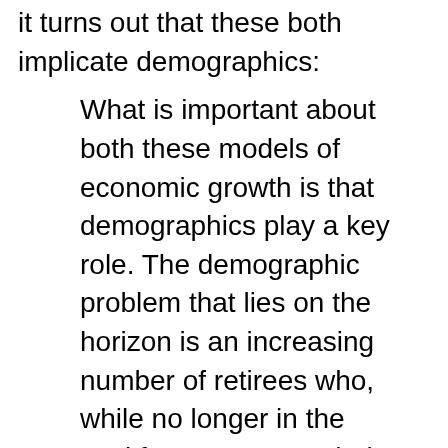it turns out that these both implicate demographics:
What is important about both these models of economic growth is that demographics play a key role. The demographic problem that lies on the horizon is an increasing number of retirees who, while no longer in the workforce, are nonetheless expected to live longer lives. Unfortunately, the number of new births seems to be too low to